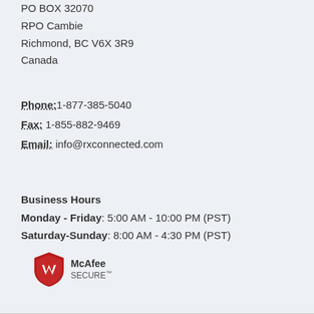PO BOX 32070
RPO Cambie
Richmond, BC V6X 3R9
Canada
Phone: 1-877-385-5040
Fax: 1-855-882-9469
Email: info@rxconnected.com
Business Hours
Monday - Friday: 5:00 AM - 10:00 PM (PST)
Saturday-Sunday: 8:00 AM - 4:30 PM (PST)
[Figure (logo): McAfee SECURE logo with red shield icon and McAfee SECURE text]